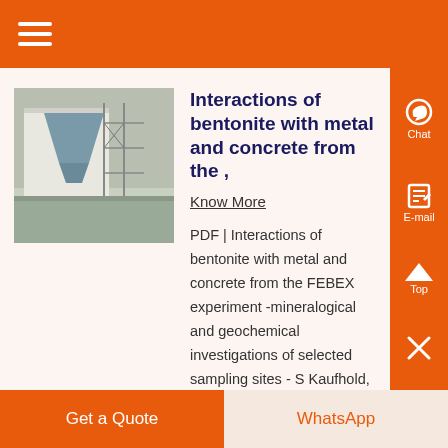[Figure (screenshot): Orange navigation bar with hamburger menu icon]
[Figure (photo): Industrial/warehouse interior scene with machinery and scaffolding]
Interactions of bentonite with metal and concrete from the ,
Know More
PDF | Interactions of bentonite with metal and concrete from the FEBEX experiment -mineralogical and geochemical investigations of selected sampling sites - S Kaufhold, R Doann, K Ufer, F Kober...
Get a Quote
WhatsApp